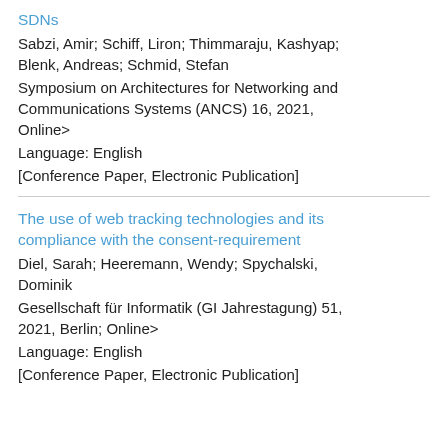SDNs
Sabzi, Amir; Schiff, Liron; Thimmaraju, Kashyap; Blenk, Andreas; Schmid, Stefan
Symposium on Architectures for Networking and Communications Systems (ANCS) 16, 2021, Online>
Language: English
[Conference Paper, Electronic Publication]
The use of web tracking technologies and its compliance with the consent-requirement
Diel, Sarah; Heeremann, Wendy; Spychalski, Dominik
Gesellschaft für Informatik (GI Jahrestagung) 51, 2021, Berlin; Online>
Language: English
[Conference Paper, Electronic Publication]